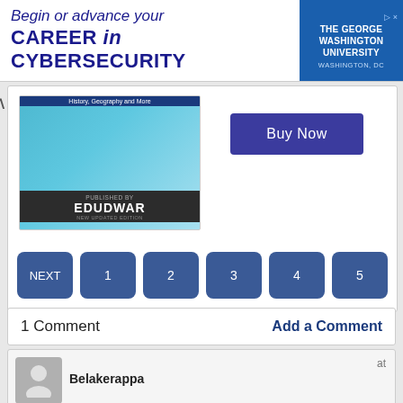[Figure (illustration): Advertisement banner for The George Washington University cybersecurity program with blue text 'Begin or advance your CAREER in CYBERSECURITY' and university logo on the right]
[Figure (illustration): Book cover for Edudwar educational book about History, Geography and More, with science/globe imagery and 'PUBLISHED BY EDUDWAR NEW UPDATED EDITION' text]
Buy Now
NEXT 1 2 3 4 5
1 Comment
Add a Comment
Belakerappa
at
Superb sir
Reply